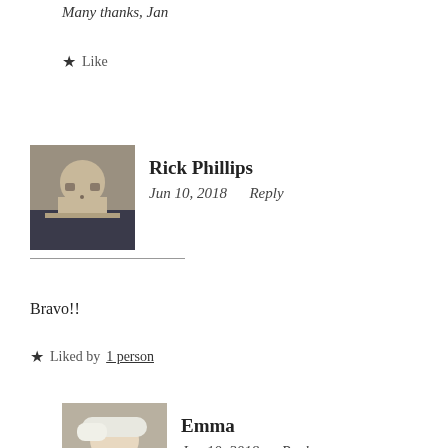Many thanks, Jan
★ Like
Rick Phillips
Jun 10, 2018    Reply
Bravo!!
★ Liked by 1 person
Emma
Jun 10, 2018    Reply